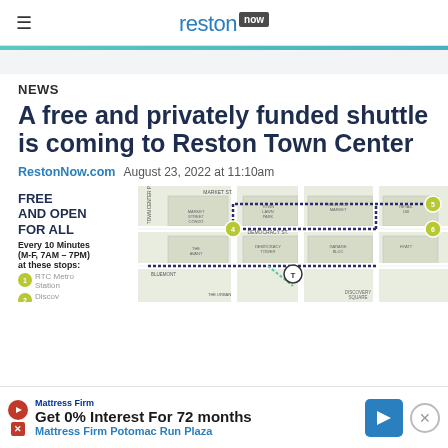reston now
NEWS
A free and privately funded shuttle is coming to Reston Town Center
RestonNow.com  August 23, 2022 at 11:10am
[Figure (map): Map of Reston Town Center shuttle route with stops marked. Left side lists: FREE AND OPEN FOR ALL, Every 10 Minutes (M-F, 7AM – 7PM) at these stops: 1. RTC Metro Station, 2. Discovery Square, 3. Winetow... Stops numbered with yellow-green circles on map. Streets include Market St., Democracy St., Town Center Pkwy, St. Francis St., Presidents St. Shuttle route shown with dotted arrows.]
Get 0% Interest For 72 months
Mattress Firm Potomac Run Plaza